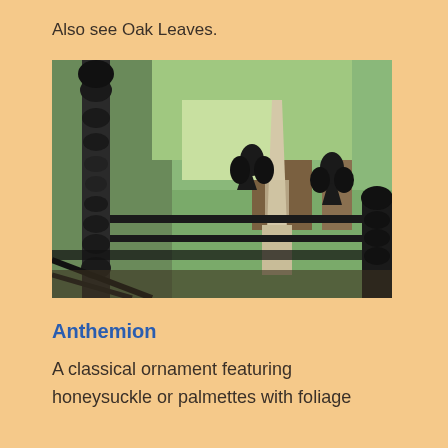Also see Oak Leaves.
[Figure (photo): Photograph of an ornate cast iron cemetery fence with decorative fleur-de-lis and acanthus motifs, with a stone obelisk monument visible in the background, surrounded by trees.]
Anthemion
A classical ornament featuring honeysuckle or palmettes with foliage